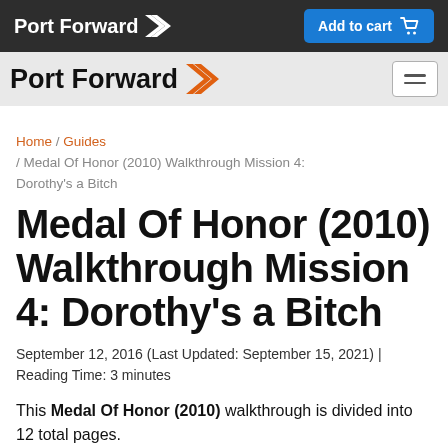Port Forward | Add to cart
[Figure (logo): Port Forward logo with orange chevron icon and hamburger menu button on grey nav bar]
Home / Guides / Medal Of Honor (2010) Walkthrough Mission 4: Dorothy's a Bitch
Medal Of Honor (2010) Walkthrough Mission 4: Dorothy's a Bitch
September 12, 2016 (Last Updated: September 15, 2021) | Reading Time: 3 minutes
This Medal Of Honor (2010) walkthrough is divided into 12 total pages.